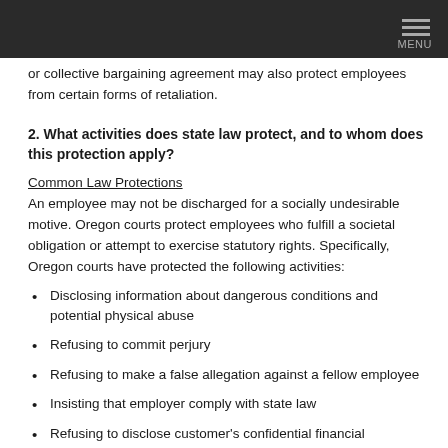MENU
or collective bargaining agreement may also protect employees from certain forms of retaliation.
2. What activities does state law protect, and to whom does this protection apply?
Common Law Protections
An employee may not be discharged for a socially undesirable motive. Oregon courts protect employees who fulfill a societal obligation or attempt to exercise statutory rights. Specifically, Oregon courts have protected the following activities:
Disclosing information about dangerous conditions and potential physical abuse
Refusing to commit perjury
Refusing to make a false allegation against a fellow employee
Insisting that employer comply with state law
Refusing to disclose customer's confidential financial information
Objecting to violations of state regulations
Filing health and safety complaints
Filing workers' compensation claims